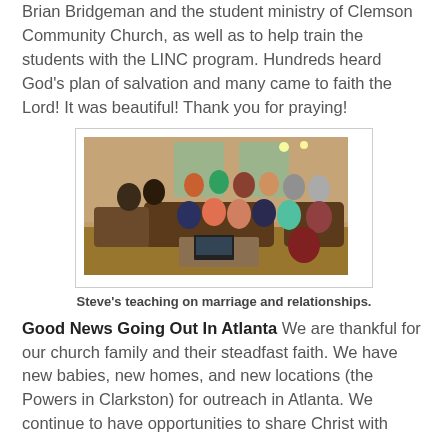Brian Bridgeman and the student ministry of Clemson Community Church, as well as to help train the students with the LINC program. Hundreds heard God's plan of salvation and many came to faith the Lord! It was beautiful! Thank you for praying!
[Figure (photo): Group of young adults sitting together in a living room setting, gathered for a teaching session. A laptop is visible on a coffee table in front of them.]
Steve's teaching on marriage and relationships.
Good News Going Out In Atlanta We are thankful for our church family and their steadfast faith. We have new babies, new homes, and new locations (the Powers in Clarkston) for outreach in Atlanta. We continue to have opportunities to share Christ with